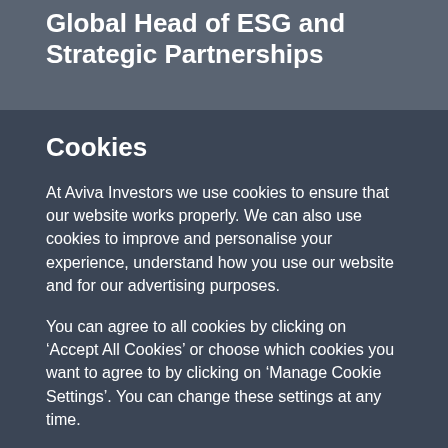Global Head of ESG and Strategic Partnerships
Cookies
At Aviva Investors we use cookies to ensure that our website works properly. We can also use cookies to improve and personalise your experience, understand how you use our website and for our advertising purposes.
You can agree to all cookies by clicking on ‘Accept All Cookies’ or choose which cookies you want to agree to by clicking on ‘Manage Cookie Settings’. You can change these settings at any time.
For more information about the cookies on our website and how we use them please see our Cookie Notice
MANAGE COOKIE SETTINGS